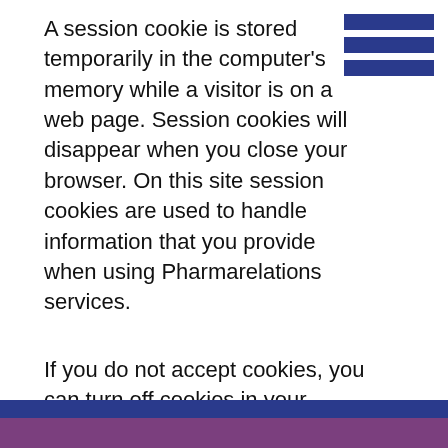A session cookie is stored temporarily in the computer's memory while a visitor is on a web page. Session cookies will disappear when you close your browser. On this site session cookies are used to handle information that you provide when using Pharmarelations services.
If you do not accept cookies, you can turn off cookies in your browser's security settings. You can also set up the browser so that you get a query every time the site tries to place a cookie on your computer. Through the browser, previously stored cookies can also be deleted, see the browser's help pages for more information.